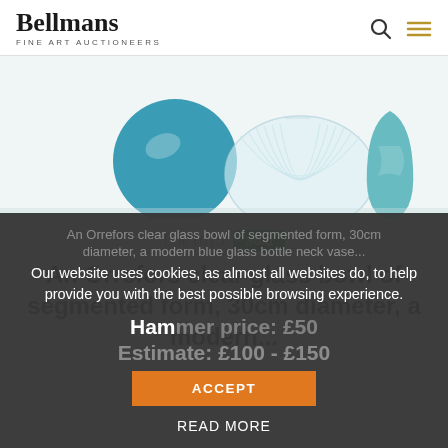Bellmans Fine Art Auctioneers
[Figure (photo): Three glass items on white background: a teal/blue opaque sphere on the left, a clear ribbed glass bowl in the center, and a teal swirled glass vase on the right.]
Lot 1015 Sold
An Orrefors clear glass bowl of segmented form, 30cm diameter, a modern...
Our website uses cookies, as almost all websites do, to help provide you with the best possible browsing experience.
Hammer price: £50
Estimate: £100 - £150
ACCEPT
READ MORE